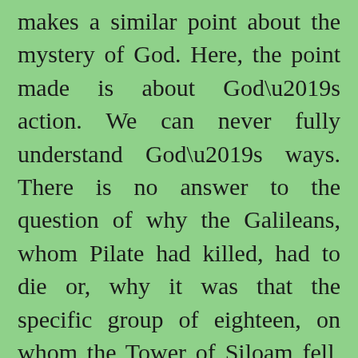makes a similar point about the mystery of God. Here, the point made is about God's action. We can never fully understand God's ways. There is no answer to the question of why the Galileans, whom Pilate had killed, had to die or, why it was that the specific group of eighteen, on whom the Tower of Siloam fell, had to be crushed under it. Our finite minds can never come up with plausible and believable answers to these questions. They will remain mysteries. Yet, in the parable of the fig tree, and even more, through the life and mission of Jesus, God is revealed as one who is